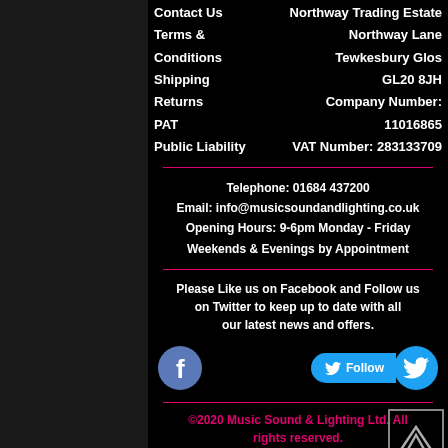Contact Us
Terms & Conditions
Shipping
Returns
PAT
Public Liability
Northway Trading Estate
Northway Lane
Tewkesbury Glos
GL20 8JH
Company Number: 11016865
VAT Number: 283133709
Telephone: 01684 437200
Email: info@musicsoundandlighting.co.uk
Opening Hours: 9-6pm Monday - Friday
Weekends & Evenings by Appointment
Please Like us on Facebook and Follow us on Twitter to keep up to date with all our latest news and offers.
[Figure (logo): Facebook circle icon (blue) and Twitter Follow button with bird icon]
©2020 Music Sound & Lighting Ltd. All rights reserved.